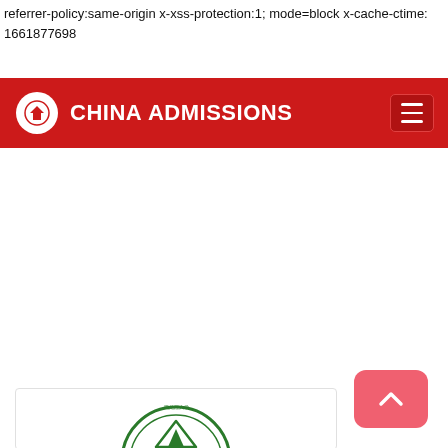referrer-policy:same-origin x-xss-protection:1; mode=block x-cache-ctime: 1661877698
[Figure (logo): China Admissions navigation bar with red background, white circular logo icon with a house/building symbol, bold white text reading CHINA ADMISSIONS, and a hamburger menu icon on the right]
[Figure (other): Pink/red scroll-to-top button with a white upward arrow chevron, positioned in the lower right area of the page]
[Figure (logo): Partial view of a green circular university seal/logo at the bottom of the page, showing a mountain and tree design with Chinese characters around the border]